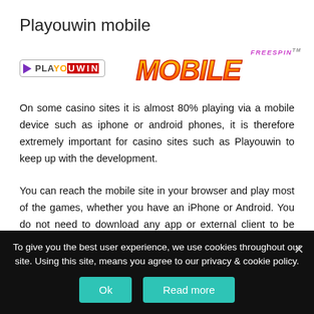Playouwin mobile
[Figure (logo): Playouwin logo on left, 'MOBILE FRIENDLY' stylized text in center, Freespin logo on right]
On some casino sites it is almost 80% playing via a mobile device such as iphone or android phones, it is therefore extremely important for casino sites such as Playouwin to keep up with the development.
You can reach the mobile site in your browser and play most of the games, whether you have an iPhone or Android. You do not need to download any app or external client to be able to entertain you with casino games, there are no restrictions on what types
To give you the best user experience, we use cookies throughout our site. Using this site, means you agree to our privacy & cookie policy.